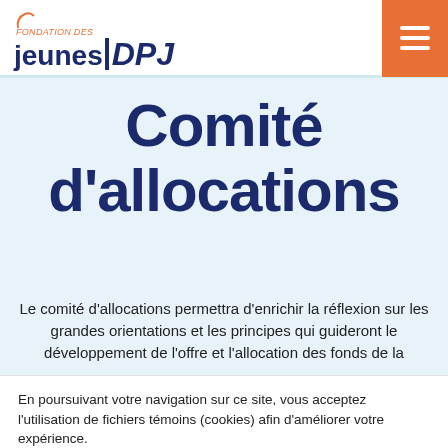Fondation des jeunes DPJ
Comité d'allocations
Le comité d'allocations permettra d'enrichir la réflexion sur les grandes orientations et les principes qui guideront le développement de l'offre et l'allocation des fonds de la
En poursuivant votre navigation sur ce site, vous acceptez l'utilisation de fichiers témoins (cookies) afin d'améliorer votre expérience.
En savoir plus  Refuser  Accepter